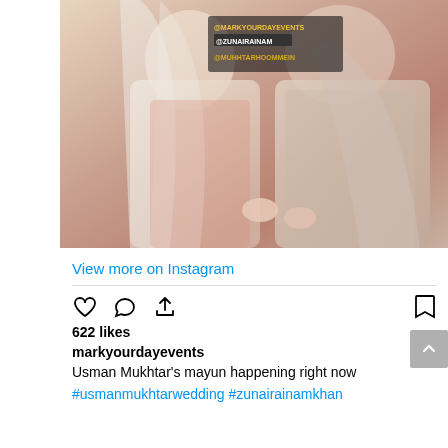[Figure (photo): Wedding photo showing two people in traditional South Asian attire - a woman in peach/pink dress with dupatta and a man in cream/gold sherwani, overlaid with Instagram tags: @markyourdayevents, @zunairainam, @muhhtarhoommein]
View more on Instagram
622 likes
markyourdayevents
Usman Mukhtar's mayun happening right now
#usmanmukhtarwedding #zunairainamkhan